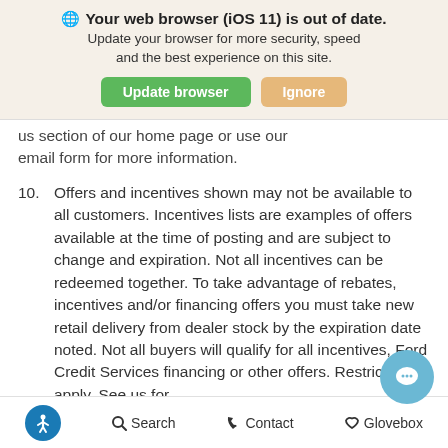[Figure (screenshot): Browser update notification banner with globe icon, bold title 'Your web browser (iOS 11) is out of date.', subtitle text, and two buttons: 'Update browser' (green) and 'Ignore' (orange/tan).]
us section of our home page or use our email form for more information.
10. Offers and incentives shown may not be available to all customers. Incentives lists are examples of offers available at the time of posting and are subject to change and expiration. Not all incentives can be redeemed together. To take advantage of rebates, incentives and/or financing offers you must take new retail delivery from dealer stock by the expiration date noted. Not all buyers will qualify for all incentives, Ford Credit Services financing or other offers. Restrictions apply. See us for complete details or use our email form for
Accessibility  Search  Contact  Glovebox